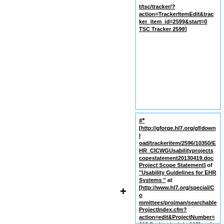t/tsc/tracker/?action=TrackerItemEdit&tracker_item_id=2599&start=0 TSC Tracker 2599]
#* [http://gforge.hl7.org/gf/download/trackeritem/2596/10350/EHR_CICWGUsabilityprojectscopestatement20130419.doc Project Scope Statement] of ''Usability Guidelines for EHR Systems '' at [http://www.hl7.org/special/Committees/projman/searchableProjectIndex.cfm?action=edit&ProjectNumber=995 Project Insight 995] and [http://gforge.hl7.org/gf/project/tsc/tracker/?